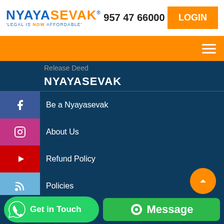[Figure (logo): Nyayasevak logo with blue and orange text, tagline 'LEGAL IS NOW AFFORDABLE']
957 47 66000
LOGIN
[Figure (other): Orange navigation bar with hamburger menu icon]
Release Deed
NYAYASEVAK
Be a Nyayasevak
About Us
Contact Us
Refund Policy
Policies
Legal & disclaimer
Get in Touch
Message